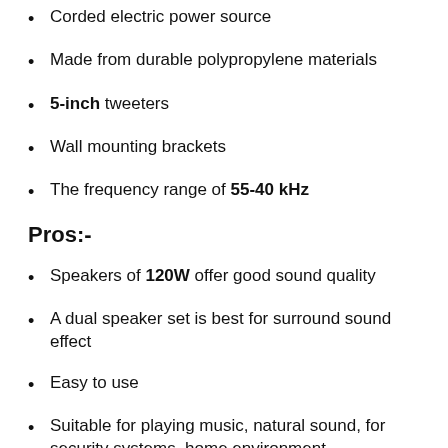Corded electric power source
Made from durable polypropylene materials
5-inch tweeters
Wall mounting brackets
The frequency range of 55-40 kHz
Pros:-
Speakers of 120W offer good sound quality
A dual speaker set is best for surround sound effect
Easy to use
Suitable for playing music, natural sound, for security systems, home environment
Cons:-